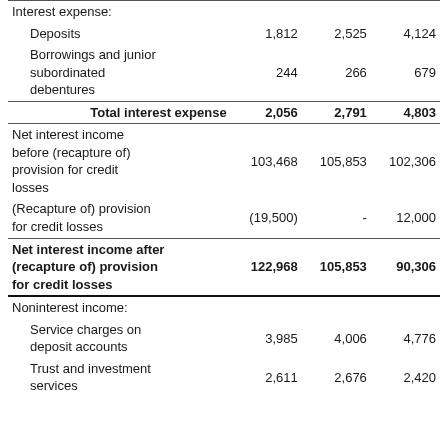|  | Col1 | Col2 | Col3 |
| --- | --- | --- | --- |
| Interest expense: |  |  |  |
|   Deposits | 1,812 | 2,525 | 4,124 |
|   Borrowings and junior subordinated debentures | 244 | 266 | 679 |
|   Total interest expense | 2,056 | 2,791 | 4,803 |
| Net interest income before (recapture of) provision for credit losses | 103,468 | 105,853 | 102,306 |
| (Recapture of) provision for credit losses | (19,500) | - | 12,000 |
| Net interest income after (recapture of) provision for credit losses | 122,968 | 105,853 | 90,306 |
| Noninterest income: |  |  |  |
|   Service charges on deposit accounts | 3,985 | 4,006 | 4,776 |
|   Trust and investment services | 2,611 | 2,676 | 2,420 |